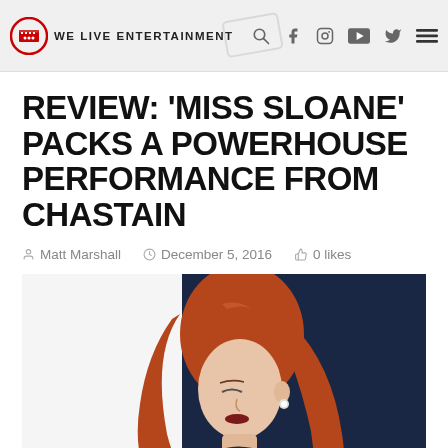WE LIVE ENTERTAINMENT
REVIEW: 'MISS SLOANE' PACKS A POWERHOUSE PERFORMANCE FROM CHASTAIN
Matt Marshall   December 5, 2016   0 likes
[Figure (photo): A red-haired woman in a dark blue outfit, looking downward, against a dark navy background. Movie promotional photo for Miss Sloane featuring Jessica Chastain.]